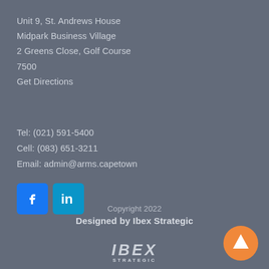Unit 9, St. Andrews House
Midpark Business Village
2 Greens Close, Golf Course
7500
Get Directions
Tel: (021) 591-5400
Cell: (083) 651-3211
Email: admin@arms.capetown
[Figure (logo): Facebook and LinkedIn social media icons]
Copyright 2022
Designed by Ibex Strategic
[Figure (logo): IBEX STRATEGIC logo in italic serif font]
[Figure (other): Orange circular up-arrow button]